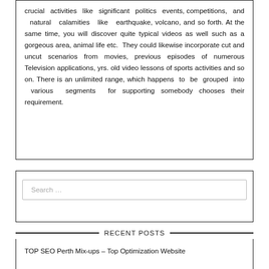crucial activities like significant politics events, competitions, and natural calamities like earthquake, volcano, and so forth. At the same time, you will discover quite typical videos as well such as a gorgeous area, animal life etc. They could likewise incorporate cut and uncut scenarios from movies, previous episodes of numerous Television applications, yrs. old video lessons of sports activities and so on. There is an unlimited range, which happens to be grouped into various segments for supporting somebody chooses their requirement.
Search …
RECENT POSTS
TOP SEO Perth Mix-ups – Top Optimization Website